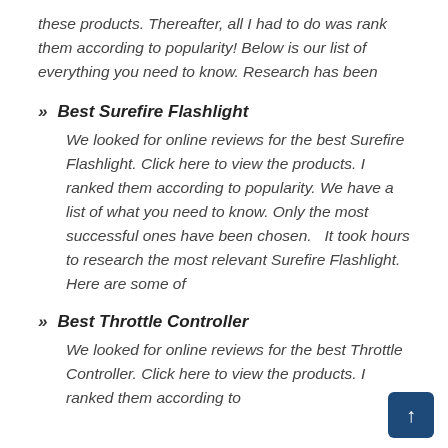these products. Thereafter, all I had to do was rank them according to popularity! Below is our list of everything you need to know. Research has been
» Best Surefire Flashlight
We looked for online reviews for the best Surefire Flashlight. Click here to view the products. I ranked them according to popularity. We have a list of what you need to know. Only the most successful ones have been chosen.   It took hours to research the most relevant Surefire Flashlight. Here are some of
» Best Throttle Controller
We looked for online reviews for the best Throttle Controller. Click here to view the products. I ranked them according to